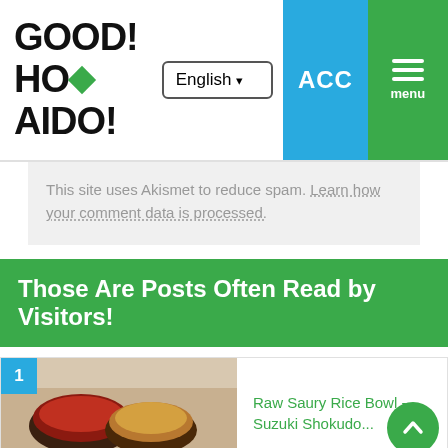GOOD! HOKKAID0!
This site uses Akismet to reduce spam. Learn how your comment data is processed.
Those Are Posts Often Read by Visitors!
1. Raw Saury Rice Bowl -Suzuki Shokudo...
2. Pinneshiri Onsen in Nakatonbetsu